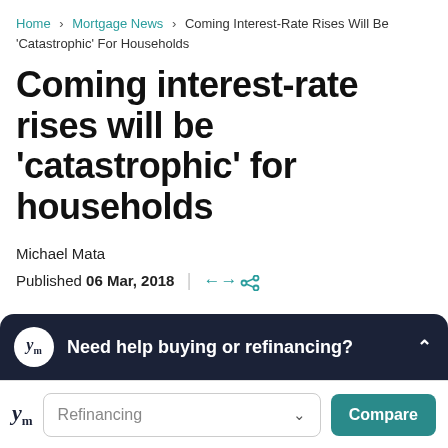Home > Mortgage News > Coming Interest-Rate Rises Will Be ‘Catastrophic’ For Households
Coming interest-rate rises will be ‘catastrophic’ for households
Michael Mata
Published 06 Mar, 2018
A two-percentage-point rise will negatively impact new homeowners across all
[Figure (screenshot): Dark popup banner with YM logo and text: Need help buying or refinancing?]
[Figure (screenshot): Bottom toolbar with YM logo, Refinancing dropdown, and Compare button]